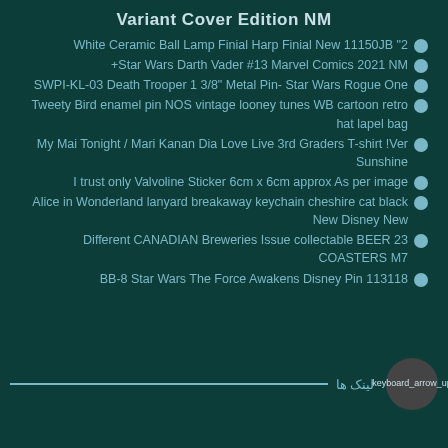Variant Cover Edition NM
White Ceramic Ball Lamp Finial Harp Finial New 11150JB "2
+Star Wars Darth Vader #13 Marvel Comics 2021 NM
SWPI-KL-03 Death Trooper 1 3/8" Metal Pin- Star Wars Rogue One
Tweety Bird enamel pin NOS vintage looney tunes WB cartoon retro hat lapel bag
My Mai Tonight / Mari Kanan Dia Love Live 3rd Graders T-shirt !Ver Sunshine
I trust only Valvoline Sticker 6cm x 6cm approx As per image
Alice in Wonderland lanyard breakaway keychain cheshire cat black New Disney New
Different CANADIAN Breweries Issue collectable BEER 23 COASTERS M7
BB-8 Star Wars The Force Awakens Disney Pin 113118
لینک ها  keyboard_arrow_up